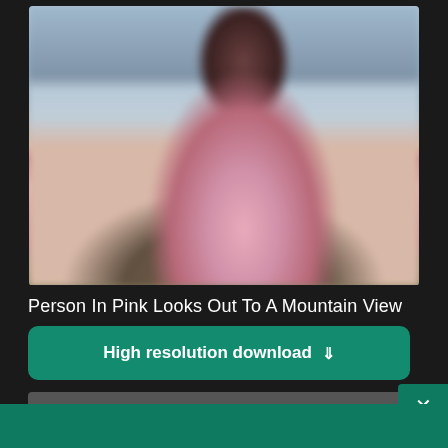[Figure (photo): Blurred photo of a person in pink clothing looking out at a mountain view with rocky landscape and overcast sky]
Person In Pink Looks Out To A Mountain View
High resolution download ↓
[Figure (logo): Shopify logo with shopping bag icon and italic 'shopify' text in white on green background]
Need an online store for your business?
Start free trial